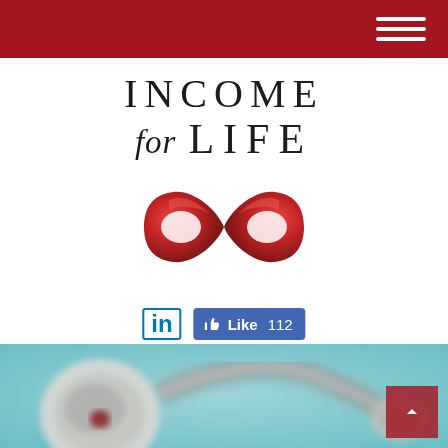Income for Life header navigation bar
INCOME for LIFE
[Figure (logo): Red ribbon twisted into an infinity symbol logo for Income for Life]
in  Like 112
(631) 724-3933
[Figure (photo): Close-up blurred photo of a stethoscope on a teal/blue background at the bottom of the page]